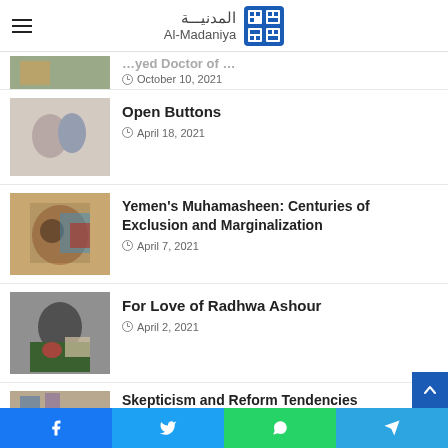Al-Madaniya
...yed Doctor of ..., October 10, 2021
Open Buttons
April 18, 2021
Yemen's Muhamasheen: Centuries of Exclusion and Marginalization
April 7, 2021
For Love of Radhwa Ashour
April 2, 2021
Skepticism and Reform Tendencies